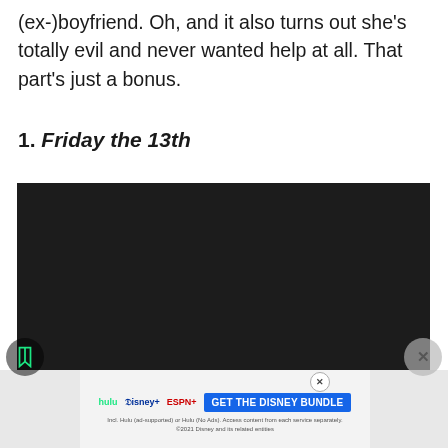(ex-)boyfriend. Oh, and it also turns out she's totally evil and never wanted help at all. That part's just a bonus.
1. Friday the 13th
[Figure (screenshot): Embedded dark/black video player]
[Figure (screenshot): Disney Bundle advertisement banner with Hulu, Disney+, ESPN+ logos and GET THE DISNEY BUNDLE CTA button]